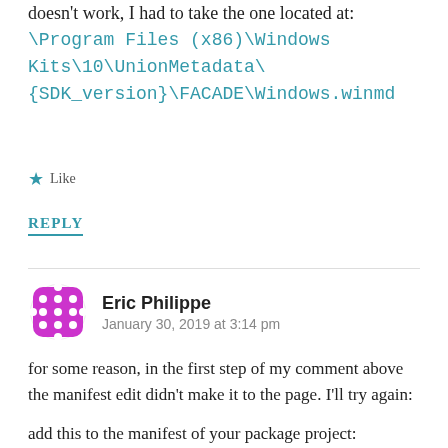doesn't work, I had to take the one located at: \Program Files (x86)\Windows Kits\10\UnionMetadata\{SDK_version}\FACADE\Windows.winmd
★ Like
REPLY
Eric Philippe
January 30, 2019 at 3:14 pm
for some reason, in the first step of my comment above the manifest edit didn't make it to the page. I'll try again:
add this to the manifest of your package project:
★ Like